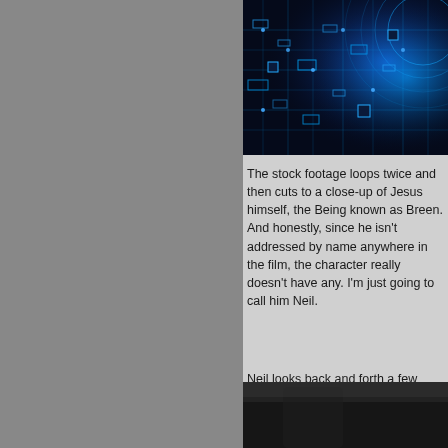[Figure (photo): Blue circuit board / technology stock footage image with glowing blue circuit lines and digital elements on dark background]
The stock footage loops twice and then cuts to a close-up of Jesus himself, the Being known as Breen. And honestly, since he isn't addressed by name anywhere in the film, the character really doesn't have any. I'm just going to call him Neil.
Neil looks back and forth a few times with a swishing sound effect and there is something interspersing a creepy but obvious face instead of Neil's face.
[Figure (photo): Partial view of another image at the bottom of the page, appears to show a person or scene in dark tones]